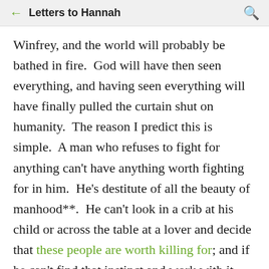← Letters to Hannah 🔍
Winfrey, and the world will probably be bathed in fire.  God will have then seen everything, and having seen everything will have finally pulled the curtain shut on humanity.  The reason I predict this is simple.  A man who refuses to fight for anything can't have anything worth fighting for in him.  He's destitute of all the beauty of manhood**.  He can't look in a crib at his child or across the table at a lover and decide that these people are worth killing for; and if he can't find that instinct and work with it within the bounds of reason, like he's supposed to work with sex and